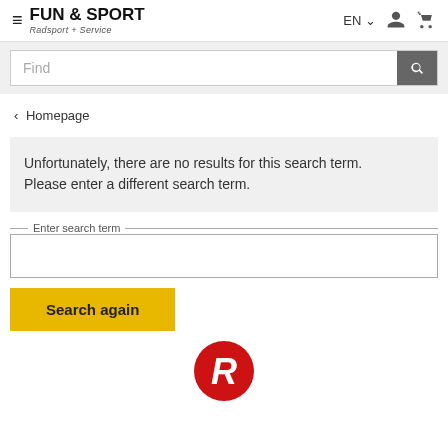[Figure (logo): Fun & Sport Radsport + Service logo with hamburger menu icon]
[Figure (screenshot): Search bar with 'Find' placeholder and dark search button]
‹ Homepage
Unfortunately, there are no results for this search term. Please enter a different search term.
Enter search term
Search again
[Figure (logo): Red circular logo with white stylized R letter]